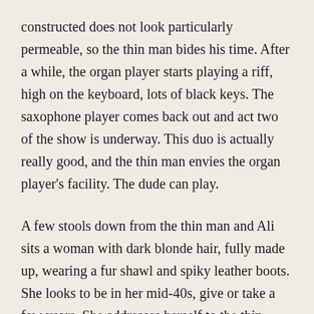constructed does not look particularly permeable, so the thin man bides his time. After a while, the organ player starts playing a riff, high on the keyboard, lots of black keys. The saxophone player comes back out and act two of the show is underway. This duo is actually really good, and the thin man envies the organ player's facility. The dude can play.
A few stools down from the thin man and Ali sits a woman with dark blonde hair, fully made up, wearing a fur shawl and spiky leather boots. She looks to be in her mid-40s, give or take a few years. She addresses herself to the thin man.